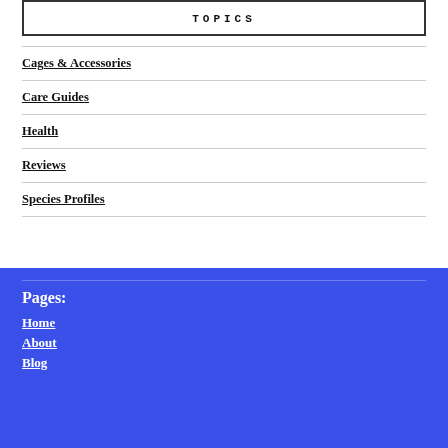TOPICS
Cages & Accessories
Care Guides
Health
Reviews
Species Profiles
Pages:
Home
About
Blog